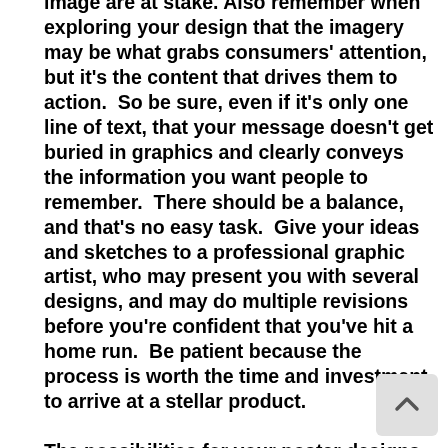image are at stake. Also remember when exploring your design that the imagery may be what grabs consumers' attention, but it's the content that drives them to action.  So be sure, even if it's only one line of text, that your message doesn't get buried in graphics and clearly conveys the information you want people to remember.  There should be a balance, and that's no easy task.  Give your ideas and sketches to a professional graphic artist, who may present you with several designs, and may do multiple revisions before you're confident that you've hit a home run.  Be patient because the process is worth the time and investment to arrive at a stellar product.

The possibilities for your poster designs